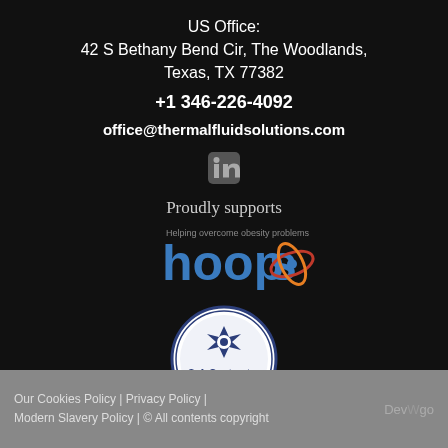US Office:
42 S Bethany Bend Cir, The Woodlands, Texas, TX 77382
+1 346-226-4092
office@thermalfluidsolutions.com
[Figure (logo): LinkedIn logo icon in grey]
Proudly supports
[Figure (logo): Hoops logo - Helping overcome obesity problems, with blue text and red/orange orbital graphic]
[Figure (logo): SafeContractor Approved circular badge with snowflake emblem]
Our Cookies Policy | Privacy Policy | Modern Slavery Policy | © All contents copyright